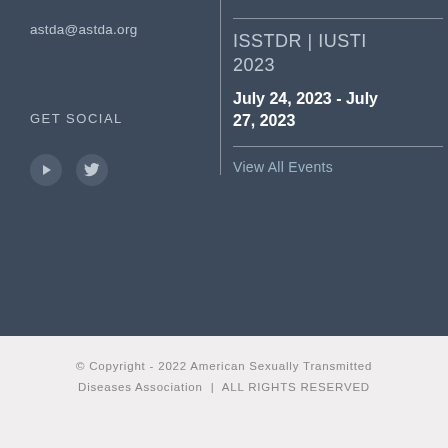astda@astda.org
GET SOCIAL
[Figure (illustration): YouTube and Twitter social media icons as circular buttons]
ISSTDR | IUSTI 2023
July 24, 2023 - July 27, 2023
View All Events
© Copyright - 2022 American Sexually Transmitted Diseases Association | ALL RIGHTS RESERVED